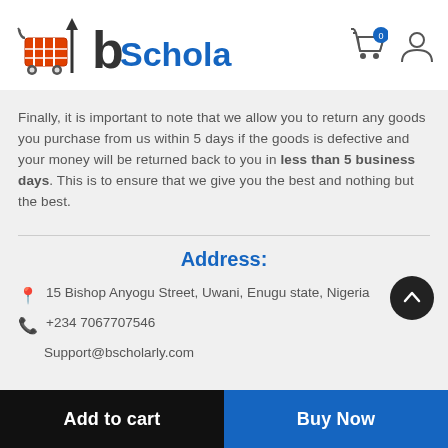[Figure (logo): bScholarly e-commerce logo with shopping cart icon in red/orange and the text 'bScholarly' in dark and blue colors]
Finally, it is important to note that we allow you to return any goods you purchase from us within 5 days if the goods is defective and your money will be returned back to you in less than 5 business days. This is to ensure that we give you the best and nothing but the best.
Address:
15 Bishop Anyogu Street, Uwani, Enugu state, Nigeria
+234 7067707546
Support@bscholarly.com
Add to cart   Buy Now